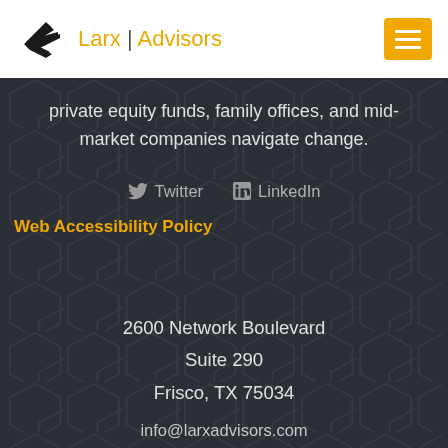Larx | Advisors
private equity funds, family offices, and mid-market companies navigate change.
Twitter  LinkedIn
Web Accessibility Policy
2600 Network Boulevard
Suite 290
Frisco, TX 75034
info@larxadvisors.com